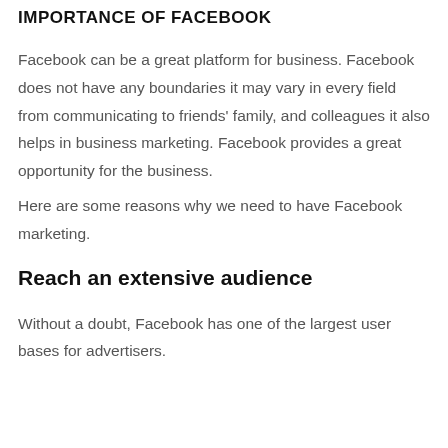IMPORTANCE OF FACEBOOK
Facebook can be a great platform for business. Facebook does not have any boundaries it may vary in every field from communicating to friends' family, and colleagues it also helps in business marketing. Facebook provides a great opportunity for the business.
Here are some reasons why we need to have Facebook marketing.
Reach an extensive audience
Without a doubt, Facebook has one of the largest user bases for advertisers.